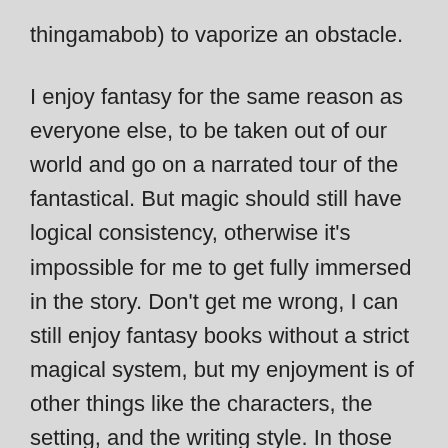thingamabob) to vaporize an obstacle.
I enjoy fantasy for the same reason as everyone else, to be taken out of our world and go on a narrated tour of the fantastical. But magic should still have logical consistency, otherwise it's impossible for me to get fully immersed in the story. Don't get me wrong, I can still enjoy fantasy books without a strict magical system, but my enjoyment is of other things like the characters, the setting, and the writing style. In those books, I am indifferent to the magic; it doesn't add anything for me. If all you need is a magic word and a wand to solve all your problems, I might be envious, but I won't relate to the story. Writers that create a magical system complete with strengths and weaknesses, and explain what is possible and what is not, immerse me in the story much more effectively